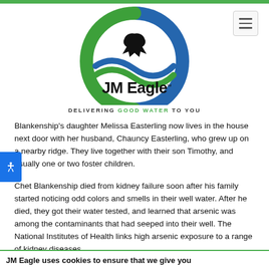[Figure (logo): JM Eagle logo with eagle silhouette inside blue and green circular wave design, text 'JM Eagle' in bold black]
DELIVERING GOOD WATER TO YOU
Blankenship's daughter Melissa Easterling now lives in the house next door with her husband, Chauncy Easterling, who grew up on a nearby ridge. They live together with their son Timothy, and usually one or two foster children.
Chet Blankenship died from kidney failure soon after his family started noticing odd colors and smells in their well water. After he died, they got their water tested, and learned that arsenic was among the contaminants that had seeped into their well. The National Institutes of Health links high arsenic exposure to a range of kidney diseases.
The family can't prove that the arsenic in the water caused Blankenship's death, and they can't get firm answers about the
JM Eagle uses cookies to ensure that we give you